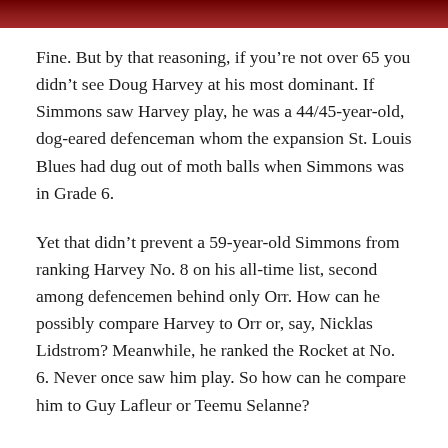[Figure (photo): Red-toned image strip at the top of the page, partially visible cropped photo.]
Fine. But by that reasoning, if you’re not over 65 you didn’t see Doug Harvey at his most dominant. If Simmons saw Harvey play, he was a 44/45-year-old, dog-eared defenceman whom the expansion St. Louis Blues had dug out of moth balls when Simmons was in Grade 6.
Yet that didn’t prevent a 59-year-old Simmons from ranking Harvey No. 8 on his all-time list, second among defencemen behind only Orr. How can he possibly compare Harvey to Orr or, say, Nicklas Lidstrom? Meanwhile, he ranked the Rocket at No. 6. Never once saw him play. So how can he compare him to Guy Lafleur or Teemu Selanne?